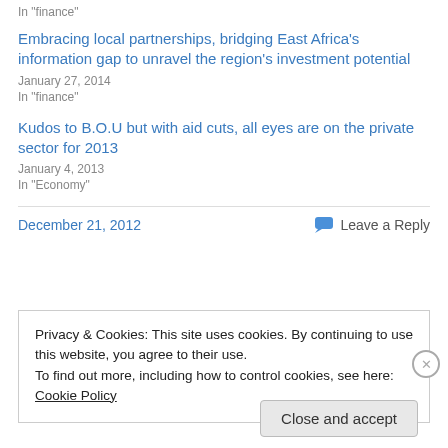In "finance"
Embracing local partnerships, bridging East Africa's information gap to unravel the region's investment potential
January 27, 2014
In "finance"
Kudos to B.O.U but with aid cuts, all eyes are on the private sector for 2013
January 4, 2013
In "Economy"
December 21, 2012
Leave a Reply
Privacy & Cookies: This site uses cookies. By continuing to use this website, you agree to their use.
To find out more, including how to control cookies, see here: Cookie Policy
Close and accept